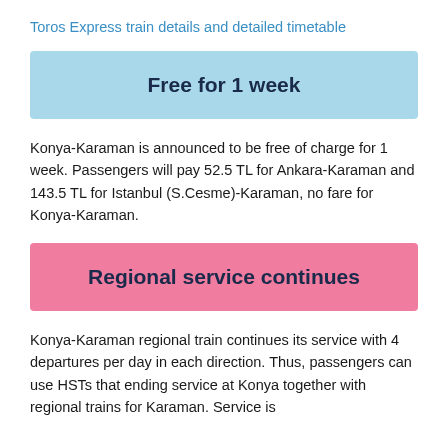Toros Express train details and detailed timetable
Free for 1 week
Konya-Karaman is announced to be free of charge for 1 week. Passengers will pay 52.5 TL for Ankara-Karaman and 143.5 TL for Istanbul (S.Cesme)-Karaman, no fare for Konya-Karaman.
Regional service continues
Konya-Karaman regional train continues its service with 4 departures per day in each direction. Thus, passengers can use HSTs that ending service at Konya together with regional trains for Karaman. Service is